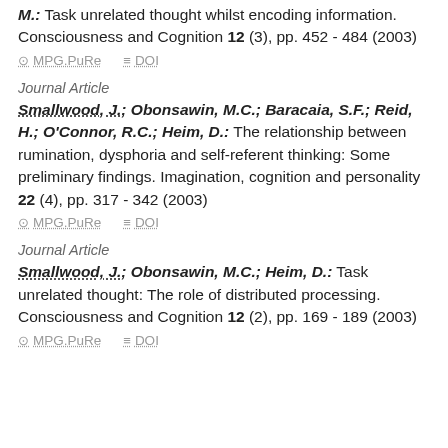M.: Task unrelated thought whilst encoding information. Consciousness and Cognition 12 (3), pp. 452 - 484 (2003)
⊙ MPG.PuRe   ≡ DOI
Journal Article
Smallwood, J.; Obonsawin, M.C.; Baracaia, S.F.; Reid, H.; O'Connor, R.C.; Heim, D.: The relationship between rumination, dysphoria and self-referent thinking: Some preliminary findings. Imagination, cognition and personality 22 (4), pp. 317 - 342 (2003)
⊙ MPG.PuRe   ≡ DOI
Journal Article
Smallwood, J.; Obonsawin, M.C.; Heim, D.: Task unrelated thought: The role of distributed processing. Consciousness and Cognition 12 (2), pp. 169 - 189 (2003)
⊙ MPG.PuRe   ≡ DOI